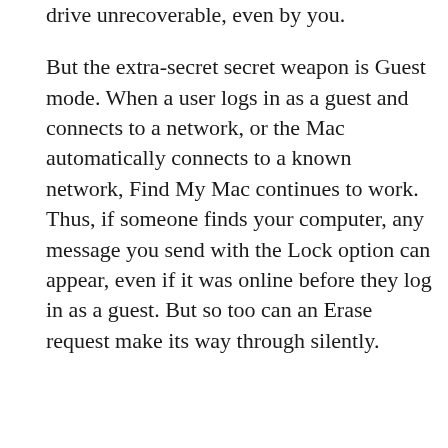drive unrecoverable, even by you.

But the extra-secret secret weapon is Guest mode. When a user logs in as a guest and connects to a network, or the Mac automatically connects to a known network, Find My Mac continues to work. Thus, if someone finds your computer, any message you send with the Lock option can appear, even if it was online before they log in as a guest. But so too can an Erase request make its way through silently.
ADVERTISEMENT
[Figure (illustration): Best Buy advertisement banner with blue gradient background showing 'BEST BUY' text in large white bold letters, partially cropped at the bottom]